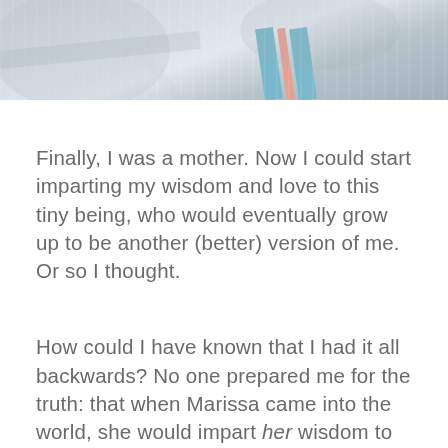[Figure (photo): Close-up photograph of folded baby clothing fabric with blue and pink/salmon stripes on a light grey/white background]
Finally, I was a mother. Now I could start imparting my wisdom and love to this tiny being, who would eventually grow up to be another (better) version of me. Or so I thought.
How could I have known that I had it all backwards? No one prepared me for the truth: that when Marissa came into the world, she would impart her wisdom to